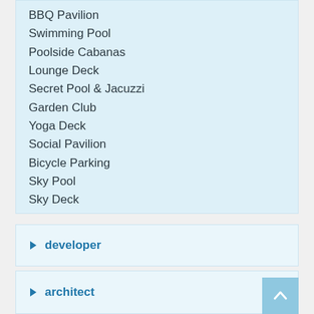BBQ Pavilion
Swimming Pool
Poolside Cabanas
Lounge Deck
Secret Pool & Jacuzzi
Garden Club
Yoga Deck
Social Pavilion
Bicycle Parking
Sky Pool
Sky Deck
developer
architect